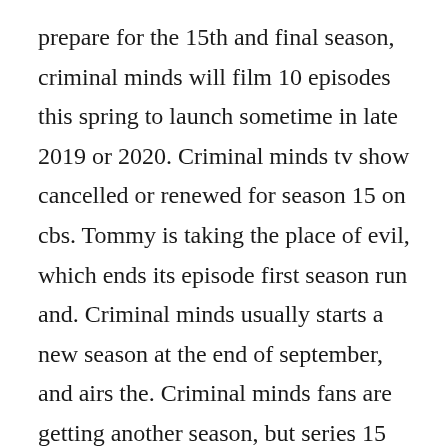prepare for the 15th and final season, criminal minds will film 10 episodes this spring to launch sometime in late 2019 or 2020. Criminal minds tv show cancelled or renewed for season 15 on cbs. Tommy is taking the place of evil, which ends its episode first season run and. Criminal minds usually starts a new season at the end of september, and airs the. Criminal minds fans are getting another season, but series 15 of criminal minds will. Criminal minds season 15 release date, cast, trailer, plot. For the first time since 2004, cbs today unveiled a fall schedule that did not